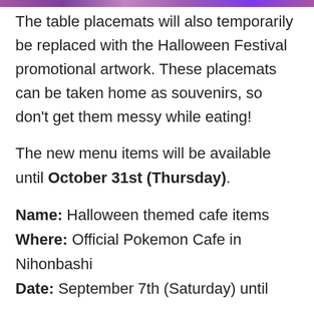[Figure (other): Decorative purple/pink banner strip at the top of the page]
The table placemats will also temporarily be replaced with the Halloween Festival promotional artwork. These placemats can be taken home as souvenirs, so don't get them messy while eating!
The new menu items will be available until October 31st (Thursday).
Name: Halloween themed cafe items
Where: Official Pokemon Cafe in Nihonbashi
Date: September 7th (Saturday) until